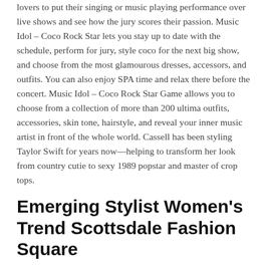lovers to put their singing or music playing performance over live shows and see how the jury scores their passion. Music Idol – Coco Rock Star lets you stay up to date with the schedule, perform for jury, style coco for the next big show, and choose from the most glamourous dresses, accessors, and outfits. You can also enjoy SPA time and relax there before the concert. Music Idol – Coco Rock Star Game allows you to choose from a collection of more than 200 ultima outfits, accessories, skin tone, hairstyle, and reveal your inner music artist in front of the whole world. Cassell has been styling Taylor Swift for years now—helping to transform her look from country cutie to sexy 1989 popstar and master of crop tops.
Emerging Stylist Women's Trend Scottsdale Fashion Square
You can give the model a perfect look with outrageous stylish accessories and clothes. Dress Up Games Stylist – NEW Dress up Games for Girl lets you create your own essence in style by the ultra-glam makeover and trendy hairstyle. The game lets you feel the real tension, pressure, and then calmness of